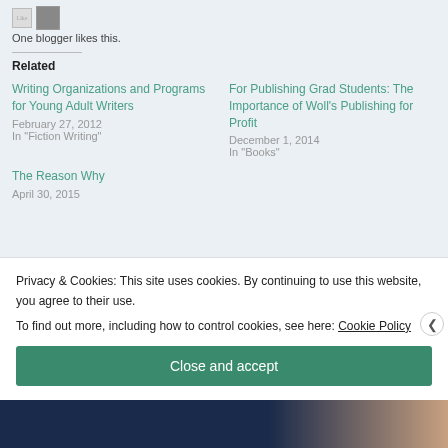One blogger likes this.
Related
Writing Organizations and Programs for Young Adult Writers
February 27, 2012
In "Fiction Writing"
For Publishing Grad Students: The Importance of Woll's Publishing for Profit
December 1, 2014
In "Books"
The Reason Why
April 30, 2015
Privacy & Cookies: This site uses cookies. By continuing to use this website, you agree to their use.
To find out more, including how to control cookies, see here: Cookie Policy
Close and accept